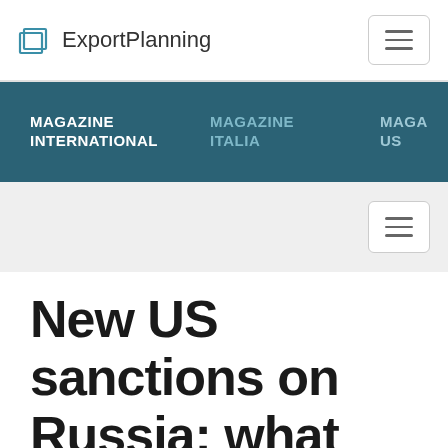ExportPlanning
MAGAZINE INTERNATIONAL   MAGAZINE ITALIA   MAGAZINE US
New US sanctions on Russia: what impact on the ruble?